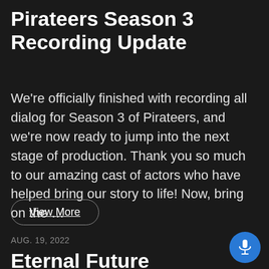Pirateers Season 3 Recording Update
We're officially finished with recording all dialog for Season 3 of Pirateers, and we're now ready to jump into the next stage of production. Thank you so much to our amazing cast of actors who have helped bring our story to life! Now, bring on the …
View More
AUG. 19, 2022
Eternal Future Productions is